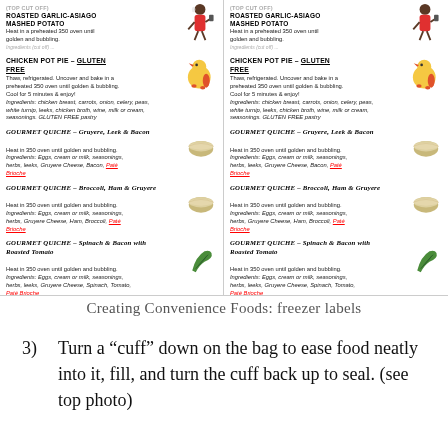[Figure (illustration): Two-column layout of freezer meal labels showing: Roasted Garlic-Asiago Mashed Potato, Chicken Pot Pie (Gluten Free), Gourmet Quiche (Gruyere Leek & Bacon), Gourmet Quiche (Broccoli Ham & Gruyere), Gourmet Quiche (Spinach & Bacon with Roasted Tomato). Each label has a title, heating instructions, and ingredients. Decorative cartoon illustrations of a woman, chicken, quiche, and spinach are shown. Layout is duplicated in two columns.]
Creating Convenience Foods: freezer labels
3)   Turn a “cuff” down on the bag to ease food neatly into it, fill, and turn the cuff back up to seal. (see top photo)